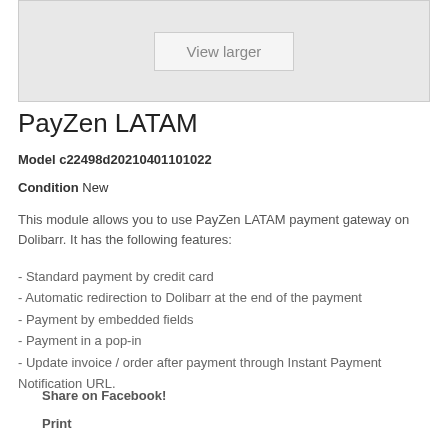[Figure (other): Product image placeholder with 'View larger' button]
PayZen LATAM
Model c22498d20210401101022
Condition New
This module allows you to use PayZen LATAM payment gateway on Dolibarr. It has the following features:
- Standard payment by credit card
- Automatic redirection to Dolibarr at the end of the payment
- Payment by embedded fields
- Payment in a pop-in
- Update invoice / order after payment through Instant Payment Notification URL.
Share on Facebook!
Print